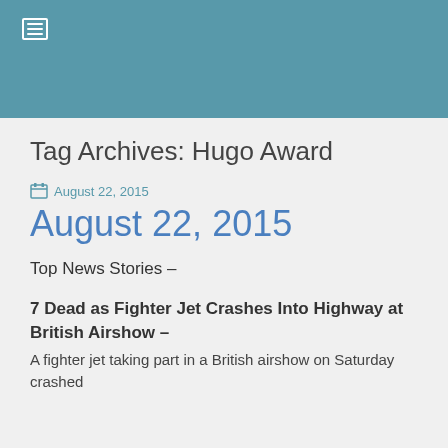≡ (menu icon)
Tag Archives: Hugo Award
August 22, 2015
August 22, 2015
Top News Stories –
7 Dead as Fighter Jet Crashes Into Highway at British Airshow –
A fighter jet taking part in a British airshow on Saturday crashed